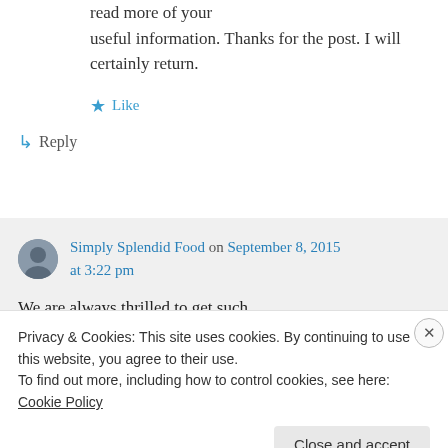read more of your useful information. Thanks for the post. I will certainly return.
★ Like
↳ Reply
Simply Splendid Food on September 8, 2015 at 3:22 pm
We are always thrilled to get such
Privacy & Cookies: This site uses cookies. By continuing to use this website, you agree to their use. To find out more, including how to control cookies, see here: Cookie Policy
Close and accept